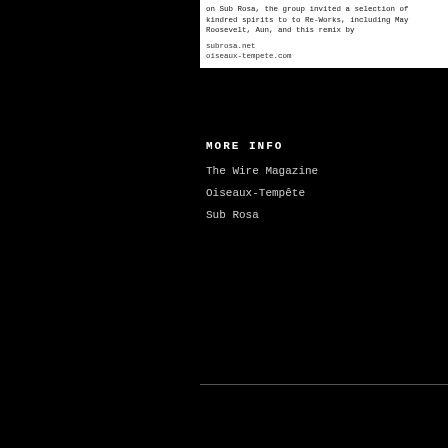on Sub Rosa, the group invited a selection of kindred spirits to to Re-Works, including May Roosevelt, Aun, and this remix by
subrosa.net
oioeaux-tempete.com
MORE INFO
The Wire Magazine
Oiseaux-Tempête
Sub Rosa
Oiseaux-Tempête - Pas La Peine de
6/22/2014
Oiseaux-Tempête was recently int program broadcast on the French na
"Ils s'appellent Oiseaux-Tempête l'oiseau avant la tempête Ou l'o chose dont le nom s'invente...